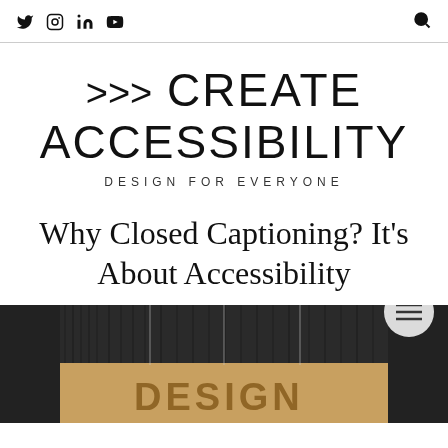Social icons: Twitter, Instagram, LinkedIn, YouTube | Search icon
>>> CREATE ACCESSIBILITY
DESIGN FOR EVERYONE
Why Closed Captioning? It's About Accessibility
[Figure (photo): Partially visible photo of a cardboard box with the word DESIGN visible, with dark textured background above it. A circular menu button overlay in the lower right.]